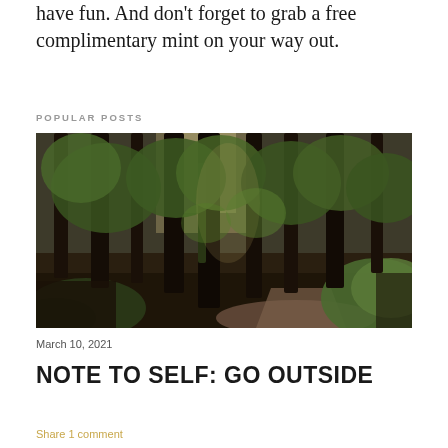have fun. And don't forget to grab a free complimentary mint on your way out.
POPULAR POSTS
[Figure (photo): A forest path winding through tall trees with green foliage and dappled light]
March 10, 2021
NOTE TO SELF: GO OUTSIDE
Share 1 comment